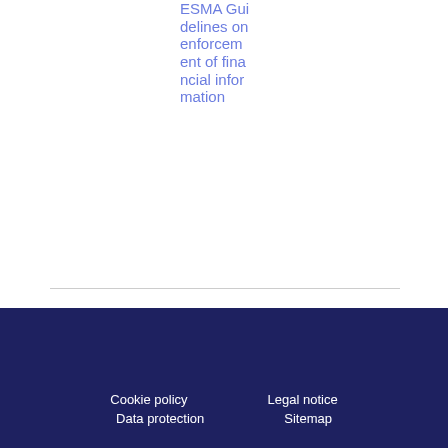ESMA Guidelines on enforcement of financial information
Cookie policy   Legal notice   Data protection   Sitemap